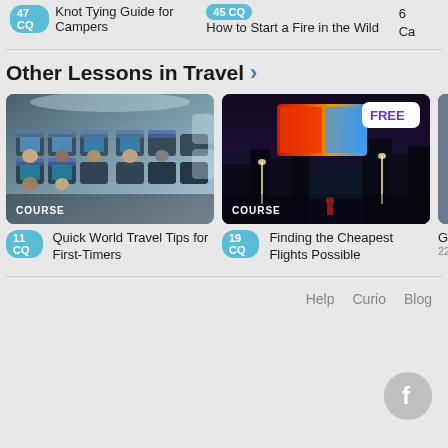47 CQ  Knot Tying Guide for Campers
45 CQ  How to Start a Fire in the Wild
Other Lessons in Travel
[Figure (photo): Airplane cabin interior with passengers and seat-back screens, labeled COURSE]
11 CQ  Quick World Travel Tips for First-Timers
[Figure (photo): Nighttime city scene with large billboard screens, labeled COURSE, with FREE badge]
19 CQ  Finding the Cheapest Flights Possible
Help   Curio   Blog